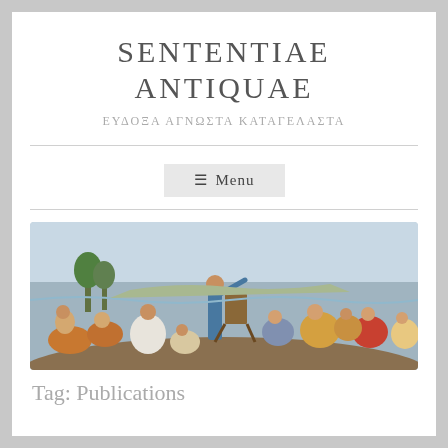SENTENTIAE ANTIQUAE
ΕΥΔΟΞΑ ΑΓΝΩΣΤΑ ΚΑΤΑΓΕΛΑΣΤΑ
≡ Menu
[Figure (illustration): Classical painting depicting a group of ancient Greek philosophers and figures gathered together, with a central standing figure gesturing outward, set against a landscape with sea and sky.]
Tag: Publications